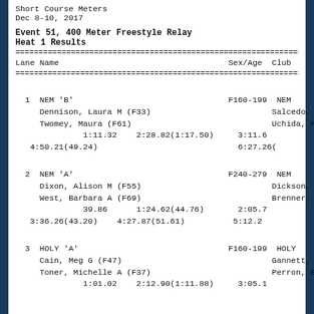Short Course Meters
Dec 8-10, 2017
Event 51, 400 Meter Freestyle Relay
Heat 1 Results
Lane Name                                    Sex/Age  Club

  1  NEM 'B'                                 F160-199  NEM
     Dennison, Laura M (F33)                          Salcedo, M
     Twomey, Maura (F61)                              Uchida, Mi
              1:11.32    2:28.82(1:17.50)    3:11.6
   4:50.21(49.24)                            6:27.26(

  2  NEM 'A'                                 F240-279  NEM
     Dixon, Alison M (F55)                            Dickson, M
     West, Barbara A (F69)                            Brenner, L
              39.86      1:24.62(44.76)      2:05.7
   3:36.26(43.20)    4:27.87(51.61)         5:12.2

  3  HOLY 'A'                                F160-199  HOLY
     Cain, Meg G (F47)                                Gannett, W
     Toner, Michelle A (F37)                          Perron, Be
              1:01.02    2:12.90(1:11.88)    3:05.1